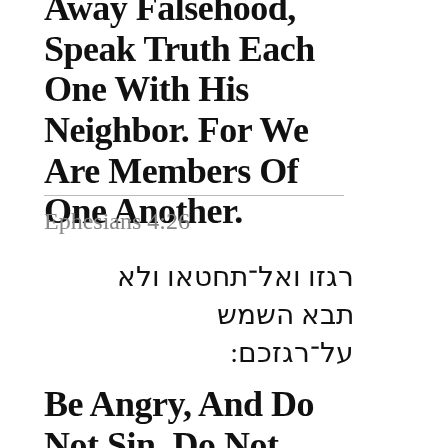Away Falsehood, Speak Truth Each One With His Neighbor. For We Are Members Of One Another.
Ephesians 4:26
רגזו ואל־תחטאו ולא תבא השמש על־רגזכם:
Be Angry, And Do Not Sin. Do Not